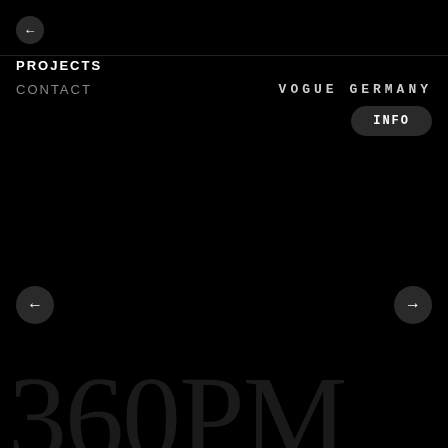[Figure (other): Circle back arrow button (navigation)]
PROJECTS
CONTACT
VOGUE GERMANY
INFO
[Figure (other): Left arrow navigation circle button]
[Figure (other): Right arrow navigation circle button]
360PM